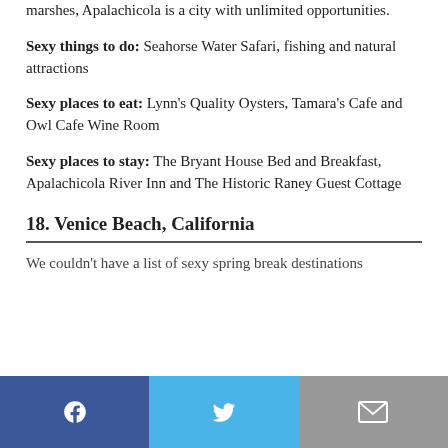marshes, Apalachicola is a city with unlimited opportunities.
Sexy things to do: Seahorse Water Safari, fishing and natural attractions
Sexy places to eat: Lynn's Quality Oysters, Tamara's Cafe and Owl Cafe Wine Room
Sexy places to stay: The Bryant House Bed and Breakfast, Apalachicola River Inn and The Historic Raney Guest Cottage
18. Venice Beach, California
We couldn't have a list of sexy spring break destinations